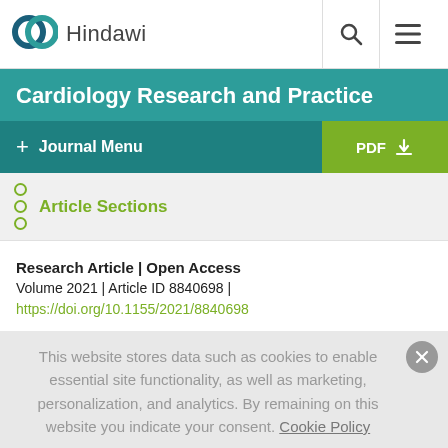[Figure (logo): Hindawi publisher logo with two interlocking circles in teal and dark blue, followed by the text 'Hindawi']
Cardiology Research and Practice
+ Journal Menu   PDF ↓
Article Sections
Research Article | Open Access
Volume 2021 | Article ID 8840698 |
https://doi.org/10.1155/2021/8840698
This website stores data such as cookies to enable essential site functionality, as well as marketing, personalization, and analytics. By remaining on this website you indicate your consent. Cookie Policy